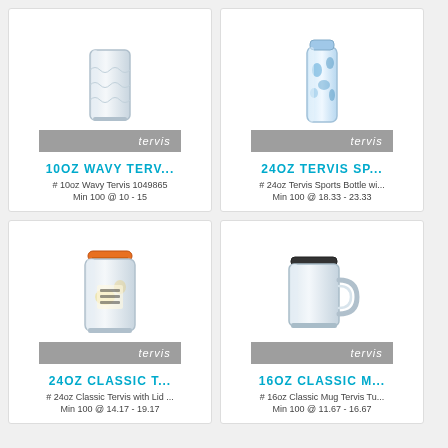[Figure (photo): 10oz Wavy Tervis tumbler, clear, shown with Tervis banner]
10OZ WAVY TERV...
# 10oz Wavy Tervis 1049865
Min 100 @ 10 - 15
[Figure (photo): 24oz Tervis Sports Bottle, blue patterned, shown with Tervis banner]
24OZ TERVIS SP...
# 24oz Tervis Sports Bottle wi...
Min 100 @ 18.33 - 23.33
[Figure (photo): 24oz Classic Tervis tumbler with orange lid, shown with Tervis banner]
24OZ CLASSIC T...
# 24oz Classic Tervis with Lid ...
Min 100 @ 14.17 - 19.17
[Figure (photo): 16oz Classic Mug Tervis Tumbler with black lid, shown with Tervis banner]
16OZ CLASSIC M...
# 16oz Classic Mug Tervis Tu...
Min 100 @ 11.67 - 16.67